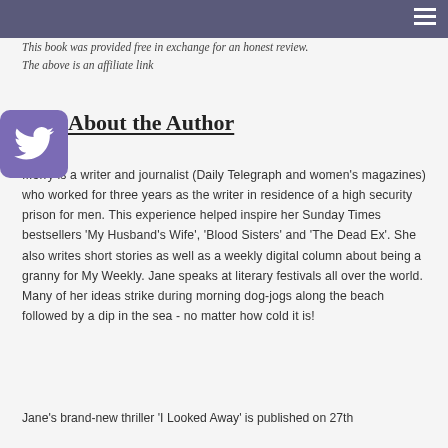This book was provided free in exchange for an honest review. The above is an affiliate link
About the Author
[Figure (logo): Twitter bird logo on purple/indigo square badge]
...orry is a writer and journalist (Daily Telegraph and women's magazines) who worked for three years as the writer in residence of a high security prison for men. This experience helped inspire her Sunday Times bestsellers 'My Husband's Wife', 'Blood Sisters' and 'The Dead Ex'. She also writes short stories as well as a weekly digital column about being a granny for My Weekly. Jane speaks at literary festivals all over the world. Many of her ideas strike during morning dog-jogs along the beach followed by a dip in the sea - no matter how cold it is!
Jane's brand-new thriller 'I Looked Away' is published on 27th